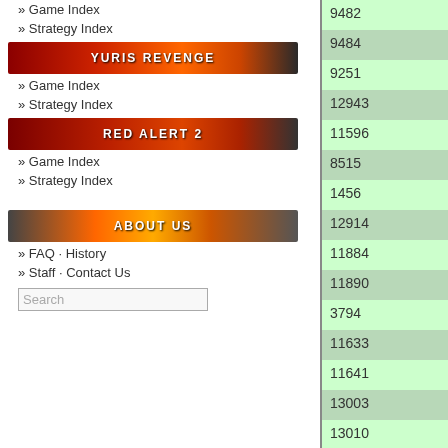» Game Index
» Strategy Index
[Figure (logo): Yuri's Revenge banner/logo in red-orange gradient with text YURIS REVENGE]
» Game Index
» Strategy Index
[Figure (logo): Red Alert 2 banner/logo in red gradient with text RED ALERT 2]
» Game Index
» Strategy Index
[Figure (logo): About Us banner/logo in orange gradient with text ABOUT US]
» FAQ · History
» Staff · Contact Us
| 9482 |
| 9484 |
| 9251 |
| 12943 |
| 11596 |
| 8515 |
| 1456 |
| 12914 |
| 11884 |
| 11890 |
| 3794 |
| 11633 |
| 11641 |
| 13003 |
| 13010 |
| 8484 |
| 8518 |
| 3507 |
| 10923 |
| 10922 |
| 8167 |